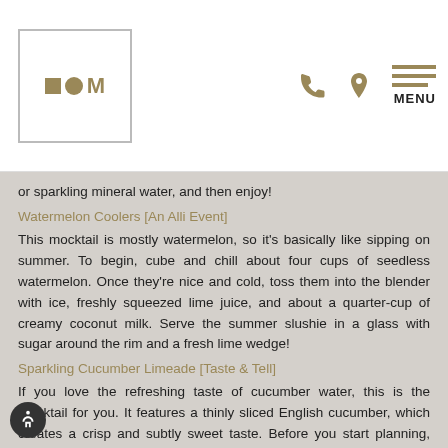[Figure (logo): IOM logo in a square border with gold/tan colored geometric shapes and letters]
or sparkling mineral water, and then enjoy!
Watermelon Coolers [An Alli Event]
This mocktail is mostly watermelon, so it's basically like sipping on summer. To begin, cube and chill about four cups of seedless watermelon. Once they're nice and cold, toss them into the blender with ice, freshly squeezed lime juice, and about a quarter-cup of creamy coconut milk. Serve the summer slushie in a glass with sugar around the rim and a fresh lime wedge!
Sparkling Cucumber Limeade [Taste & Tell]
If you love the refreshing taste of cucumber water, this is the mocktail for you. It features a thinly sliced English cucumber, which creates a crisp and subtly sweet taste. Before you start planning, create a lime-infused simple syrup with sugar